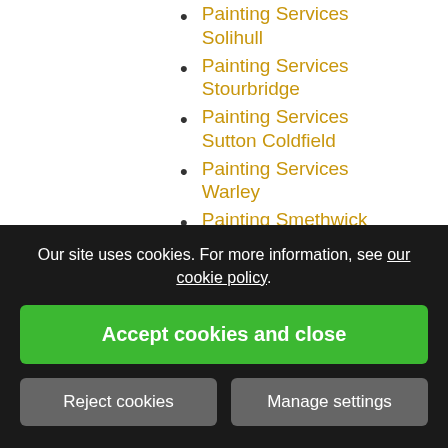Painting Services Solihull
Painting Services Stourbridge
Painting Services Sutton Coldfield
Painting Services Warley
Painting Smethwick
Painting Solihull
Painting Stirchley
Our site uses cookies. For more information, see our cookie policy.
Accept cookies and close
Reject cookies
Manage settings